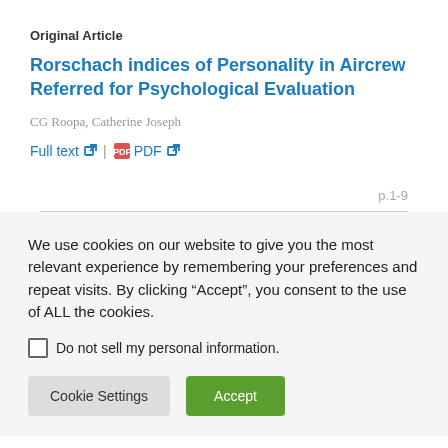Original Article
Rorschach indices of Personality in Aircrew Referred for Psychological Evaluation
CG Roopa, Catherine Joseph
Full text | PDF
p.1-9
We use cookies on our website to give you the most relevant experience by remembering your preferences and repeat visits. By clicking “Accept”, you consent to the use of ALL the cookies.
Do not sell my personal information.
Cookie Settings
Accept